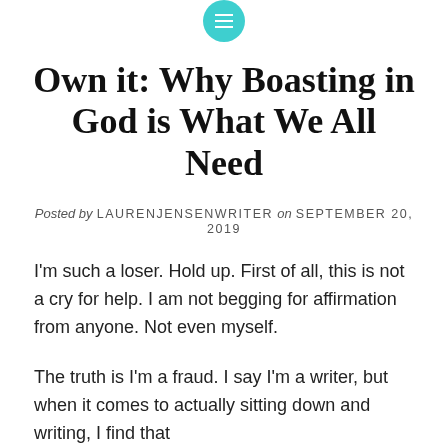[Figure (other): Teal circular icon with three horizontal lines (hamburger/menu icon)]
Own it: Why Boasting in God is What We All Need
Posted by LAURENJENSENWRITER on SEPTEMBER 20, 2019
I'm such a loser. Hold up. First of all, this is not a cry for help. I am not begging for affirmation from anyone. Not even myself.
The truth is I'm a fraud. I say I'm a writer, but when it comes to actually sitting down and writing, I find that